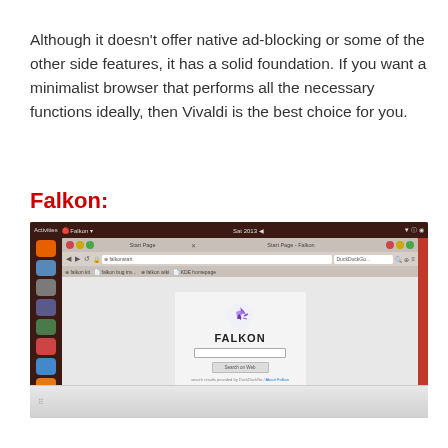Although it doesn't offer native ad-blocking or some of the other side features, it has a solid foundation. If you want a minimalist browser that performs all the necessary functions ideally, then Vivaldi is the best choice for you.
Falkon:
[Figure (screenshot): Screenshot of the Falkon web browser running on Ubuntu Linux. Shows the Ubuntu desktop with a dark sidebar containing app icons. The browser window displays the Falkon start page with the Falkon logo (bird icon) and FALKON text, a search box, and a 'Search on Web' button. The page credits DuckDuckGo for search results and has an 'About Falkon' link.]